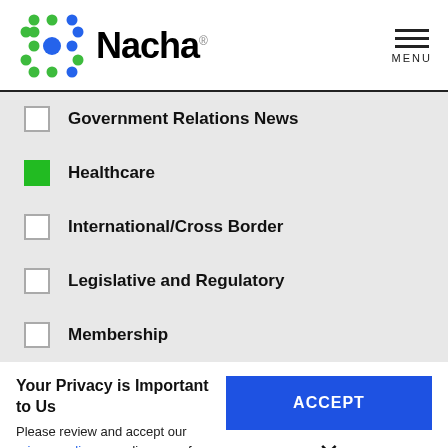[Figure (logo): Nacha logo with green and blue dot pattern and Nacha wordmark]
Government Relations News (unchecked)
Healthcare (checked)
International/Cross Border (unchecked)
Legislative and Regulatory (unchecked)
Membership (unchecked)
Your Privacy is Important to Us
Please review and accept our privacy policy regarding use of cookies and related technologies.